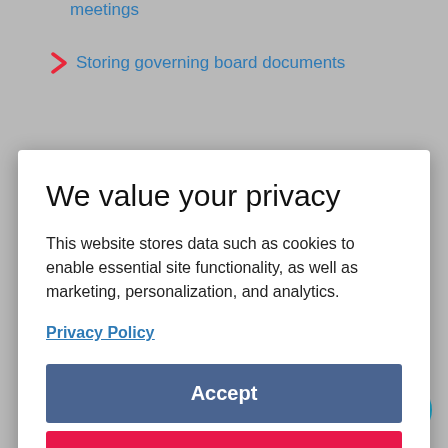meetings
Storing governing board documents
We value your privacy
This website stores data such as cookies to enable essential site functionality, as well as marketing, personalization, and analytics.
Privacy Policy
Accept
Deny
Publishing governing board minutes online